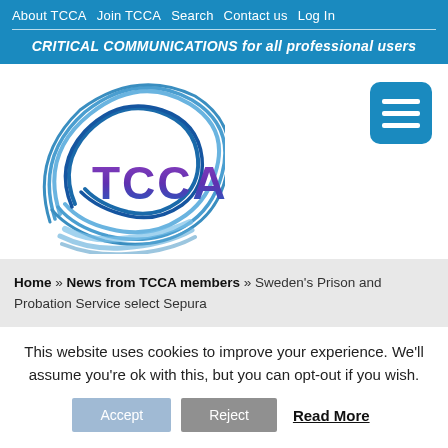About TCCA  Join TCCA  Search  Contact us  Log In
CRITICAL COMMUNICATIONS for all professional users
[Figure (logo): TCCA logo with blue swirling lines and purple/blue TCCA text]
[Figure (other): Hamburger menu icon button (blue rounded rectangle with three white bars)]
Home » News from TCCA members » Sweden's Prison and Probation Service select Sepura
This website uses cookies to improve your experience. We'll assume you're ok with this, but you can opt-out if you wish.
Accept  Reject  Read More